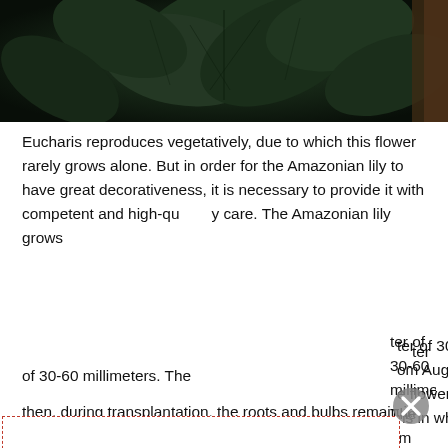[Figure (photo): Close-up photo of dark green tropical leaves, likely Eucharis/Amazonian lily plant, dark background]
Eucharis reproduces vegetatively, due to which this flower rarely grows alone. But in order for the Amazonian lily to have great decorativeness, it is necessary to provide it with competent and high-quality care. The Amazonian lily grows ter of 30-60 millimeters. The om August to September, although e flower blooms at other times, it all ns in which the Amazonian lily produce a large number of The time comes to transplant the t is faced with a choice whether to e plant, or to transplant them. e advised to leave the shoots. And then, during transplantation, the roots and bulbs remain in an
Garden
Flowers
Animals